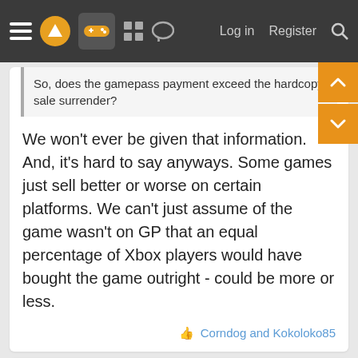Log in  Register
So, does the gamepass payment exceed the hardcopy sale surrender?
We won't ever be given that information. And, it's hard to say anyways. Some games just sell better or worse on certain platforms. We can't just assume of the game wasn't on GP that an equal percentage of Xbox players would have bought the game outright - could be more or less.
Corndog and Kokoloko85
Kagey K
Member
Aug 16, 2021
Trogdor1123 said:
So, does the gamepass payment exceed the hardcopy sale